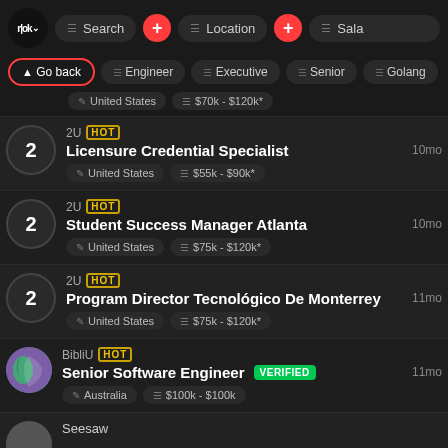Search | Location | Salary (navigation bar)
Go back | Engineer | Executive | Senior | Golang (filter bar)
2U HOT - Licensure Credential Specialist - United States - $55k - $90k* - 10mo
2U HOT - Student Success Manager Atlanta - United States - $75k - $120k* - 10mo
2U HOT - Program Director Tecnológico De Monterrey - United States - $75k - $120k* - 11mo
BibliU HOT - Senior Software Engineer VERIFIED - Australia - $100k - $100k - 11mo
Seesaw